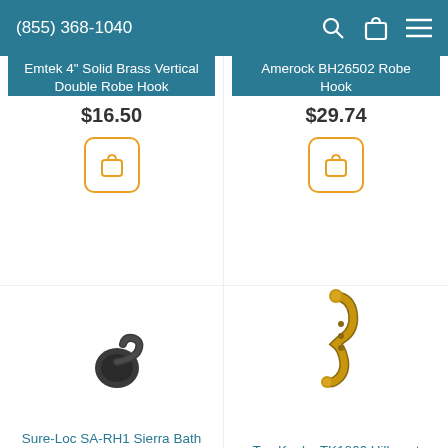(855) 368-1040
Emtek 4" Solid Brass Vertical Double Robe Hook
$16.50
Amerock BH26502 Robe Hook
$29.74
[Figure (illustration): Dark bronze robe hook product image]
Sure-Loc SA-RH1 Sierra Bath Series Robe Hook
[Figure (illustration): Gold double coat hook product image]
Top Knobs TK1066 Hillmont Hook 6 1/8 Inch
$1.0-
$14.51